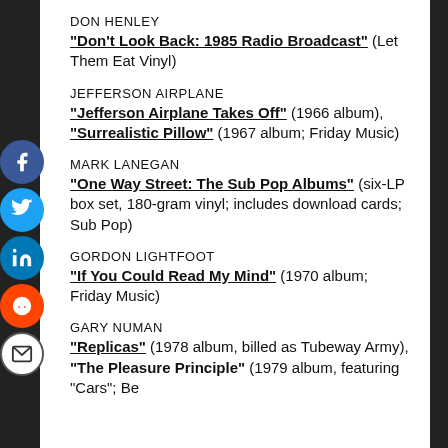DON HENLEY
"Don't Look Back: 1985 Radio Broadcast" (Let Them Eat Vinyl)
JEFFERSON AIRPLANE
"Jefferson Airplane Takes Off" (1966 album), "Surrealistic Pillow" (1967 album; Friday Music)
MARK LANEGAN
"One Way Street: The Sub Pop Albums" (six-LP box set, 180-gram vinyl; includes download cards; Sub Pop)
GORDON LIGHTFOOT
"If You Could Read My Mind" (1970 album; Friday Music)
GARY NUMAN
"Replicas" (1978 album, billed as Tubeway Army), "The Pleasure Principle" (1979 album, featuring "Cars"; Be